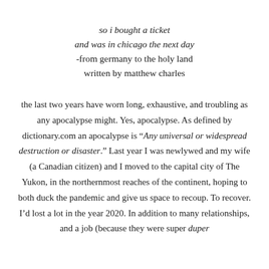so i bought a ticket
and was in chicago the next day
-from germany to the holy land
written by matthew charles
the last two years have worn long, exhaustive, and troubling as any apocalypse might. Yes, apocalypse. As defined by dictionary.com an apocalypse is “Any universal or widespread destruction or disaster.” Last year I was newlywed and my wife (a Canadian citizen) and I moved to the capital city of The Yukon, in the northernmost reaches of the continent, hoping to both duck the pandemic and give us space to recoup. To recover. I’d lost a lot in the year 2020. In addition to many relationships, and a job (because they were super duper